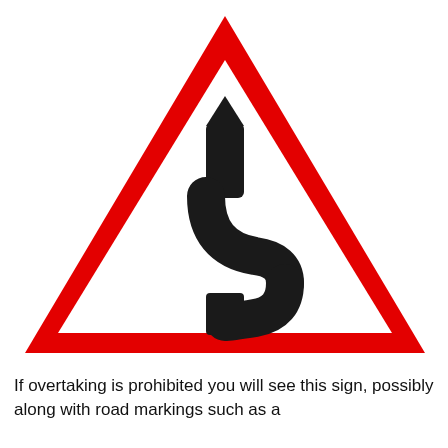[Figure (illustration): A red-bordered warning triangle road sign (white interior) with a black winding/double-bend road symbol inside, indicating a dangerous series of curves ahead.]
If overtaking is prohibited you will see this sign, possibly along with road markings such as a